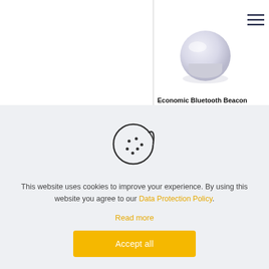[Figure (photo): White rounded disc-shaped Bluetooth beacon product photo on white background]
[Figure (illustration): Hamburger menu icon (three horizontal lines) in dark navy color]
Economic Bluetooth Beacon
[Figure (illustration): Cookie icon outline illustration - a bitten cookie with dots]
This website uses cookies to improve your experience. By using this website you agree to our Data Protection Policy.
Read more
Accept all